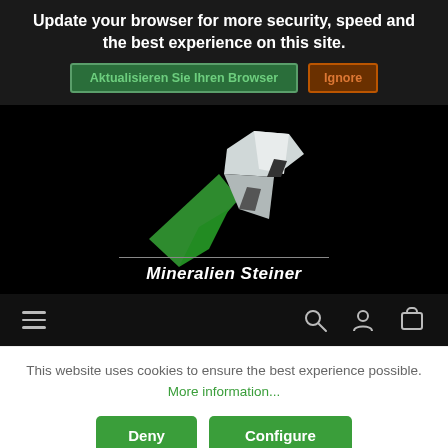Update your browser for more security, speed and the best experience on this site.
Aktualisieren Sie Ihren Browser | Ignore
[Figure (logo): Mineralien Steiner logo: green checkmark crystal shape with white crystal point on black background, with text 'Mineralien Steiner' below a horizontal rule]
Navigation bar with hamburger menu, search, user, and cart icons
This website uses cookies to ensure the best experience possible. More information...
Deny | Configure